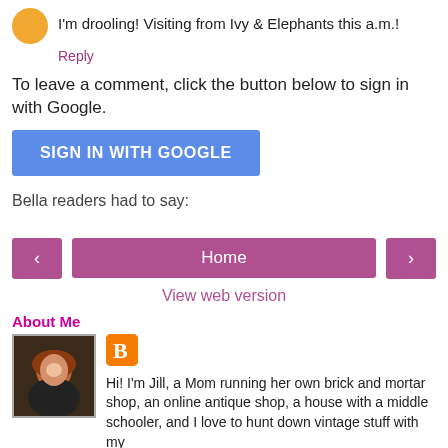I'm drooling! Visiting from Ivy & Elephants this a.m.!
Reply
To leave a comment, click the button below to sign in with Google.
SIGN IN WITH GOOGLE
Bella readers had to say:
‹
Home
›
View web version
About Me
[Figure (photo): Profile photo of a woman with red hair]
[Figure (logo): Blogger orange B icon]
Hi! I'm Jill, a Mom running her own brick and mortar shop, an online antique shop, a house with a middle schooler, and I love to hunt down vintage stuff with my Hubby! With a career behind me in TV as a Writer/Producer, I still